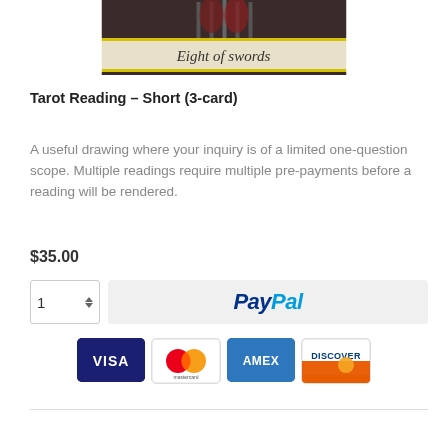[Figure (photo): Tarot card 'Eight of Swords' — a tarot card image cropped showing a beige label band with italic cursive text 'Eight of swords' on a yellow-bordered card]
Tarot Reading – Short (3-card)
A useful drawing where your inquiry is of a limited one-question scope. Multiple readings require multiple pre-payments before a reading will be rendered.
$35.00
[Figure (screenshot): Quantity input box showing '1' with up/down spinner arrows, and a PayPal checkout button (light gray background with PayPal logo)]
[Figure (screenshot): Payment method icons: VISA (blue), Mastercard (red/orange circles), AMEX (blue), Discover (orange/blue)]